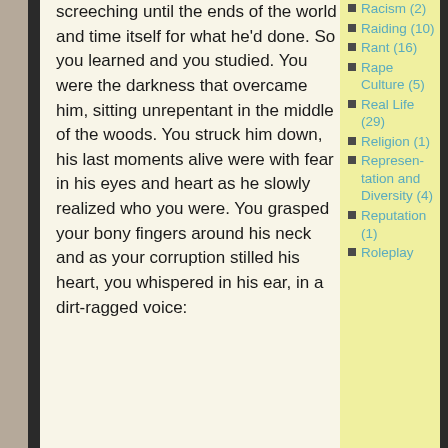screeching until the ends of the world and time itself for what he'd done. So you learned and you studied. You were the darkness that overcame him, sitting unrepentant in the middle of the woods. You struck him down, his last moments alive were with fear in his eyes and heart as he slowly realized who you were. You grasped your bony fingers around his neck and as your corruption stilled his heart, you whispered in his ear, in a dirt-ragged voice:
Racism (2)
Raiding (10)
Rant (16)
Rape Culture (5)
Real Life (29)
Religion (1)
Representation and Diversity (4)
Reputation (1)
Roleplay